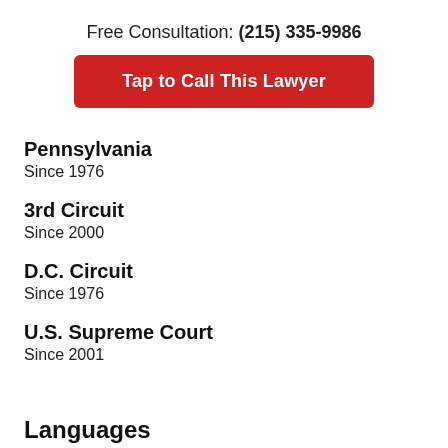Free Consultation: (215) 335-9986
Tap to Call This Lawyer
Pennsylvania
Since 1976
3rd Circuit
Since 2000
D.C. Circuit
Since 1976
U.S. Supreme Court
Since 2001
Languages